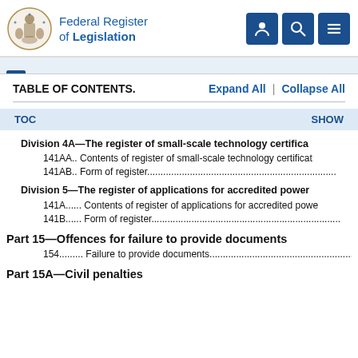Federal Register of Legislation
TABLE OF CONTENTS.    Expand All  |  Collapse All
TOC    SHOW
Division 4A—The register of small-scale technology certificates
141AA.. Contents of register of small-scale technology certificates
141AB.. Form of register
Division 5—The register of applications for accredited power stations
141A...... Contents of register of applications for accredited power stations
141B...... Form of register
Part 15—Offences for failure to provide documents
154......... Failure to provide documents
Part 15A—Civil penalties